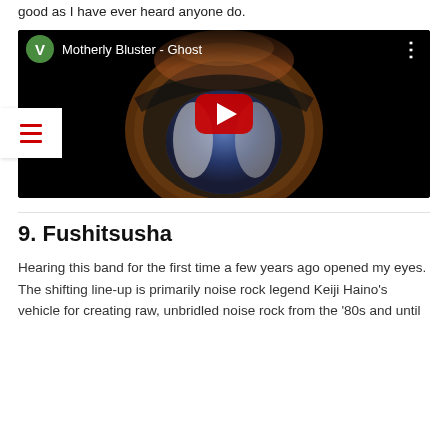good as I have ever heard anyone do.
[Figure (screenshot): YouTube video embed showing 'Motherly Bluster - Ghost' with a green V avatar icon, three-dot menu, and a red play button over psychedelic album artwork on a black background. A white hamburger menu overlay appears in the lower left.]
9. Fushitsusha
Hearing this band for the first time a few years ago opened my eyes. The shifting line-up is primarily noise rock legend Keiji Haino's vehicle for creating raw, unbridled noise rock from the '80s and until